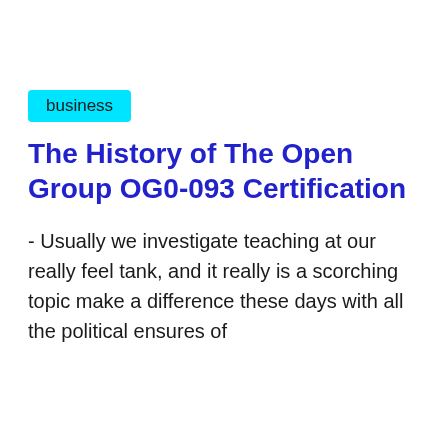business
The History of The Open Group OG0-093 Certification
- Usually we investigate teaching at our really feel tank, and it really is a scorching topic make a difference these days with all the political ensures of